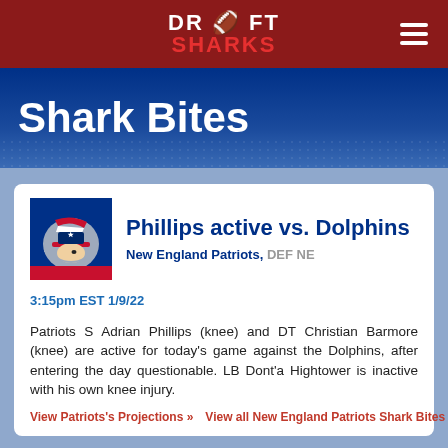DRAFT SHARKS
Shark Bites
Phillips active vs. Dolphins
New England Patriots, DEF NE
3:15pm EST 1/9/22
Patriots S Adrian Phillips (knee) and DT Christian Barmore (knee) are active for today's game against the Dolphins, after entering the day questionable. LB Dont'a Hightower is inactive with his own knee injury.
View Patriots's Projections »  View all New England Patriots Shark Bites »